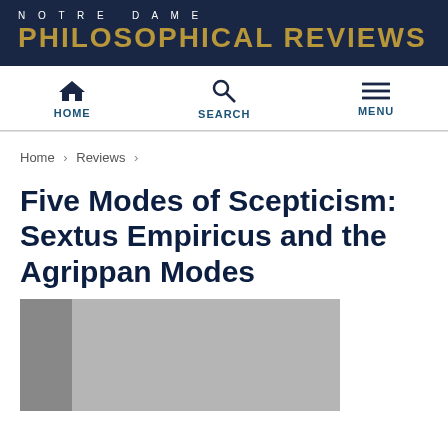NOTRE DAME PHILOSOPHICAL REVIEWS
HOME  SEARCH  MENU
Home › Reviews ›
Five Modes of Scepticism: Sextus Empiricus and the Agrippan Modes
[Figure (photo): Book cover image showing a grey/silver cover with a darker spine on the left side]